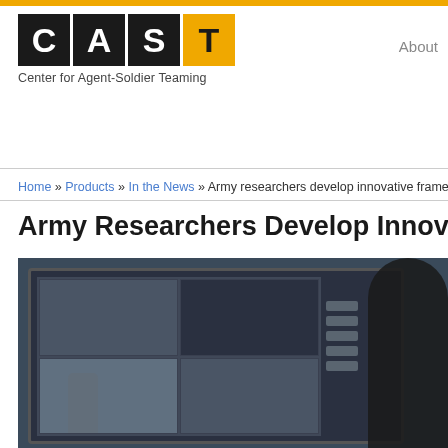[Figure (logo): CAST logo with four letter tiles (C, A in black; S in black; T in gold/yellow) and tagline 'Center for Agent-Soldier Teaming']
About
Home » Products » In the News » Army researchers develop innovative framework f…
Army Researchers Develop Innovat…
[Figure (photo): Military drone/robot control device with a multi-panel screen showing surveillance or video feeds, control buttons on the right side, and a person visible on the right edge of the frame]